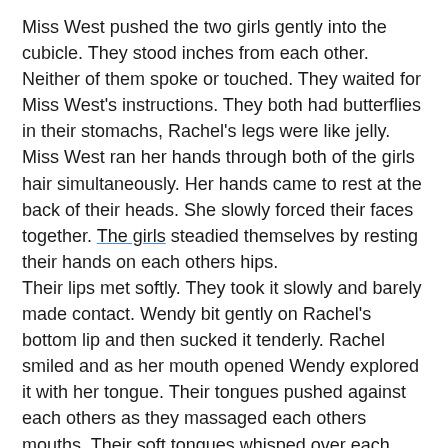Miss West pushed the two girls gently into the cubicle. They stood inches from each other. Neither of them spoke or touched. They waited for Miss West's instructions. They both had butterflies in their stomachs, Rachel's legs were like jelly.
Miss West ran her hands through both of the girls hair simultaneously. Her hands came to rest at the back of their heads. She slowly forced their faces together. The girls steadied themselves by resting their hands on each others hips.
Their lips met softly. They took it slowly and barely made contact. Wendy bit gently on Rachel's bottom lip and then sucked it tenderly. Rachel smiled and as her mouth opened Wendy explored it with her tongue. Their tongues pushed against each others as they massaged each others mouths. Their soft tongues whisped over each others and each felt the others breath on their face.